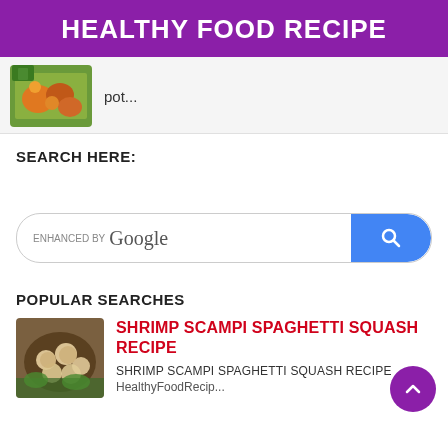HEALTHY FOOD RECIPE
[Figure (photo): Food dish thumbnail showing vegetables and potatoes in a pot]
pot...
SEARCH HERE:
[Figure (screenshot): Google search bar with enhanced by Google text and blue search button]
POPULAR SEARCHES
[Figure (photo): Shrimp scampi spaghetti squash recipe dish thumbnail]
SHRIMP SCAMPI SPAGHETTI SQUASH RECIPE
SHRIMP SCAMPI SPAGHETTI SQUASH RECIPE
HealthyFoodRecip...